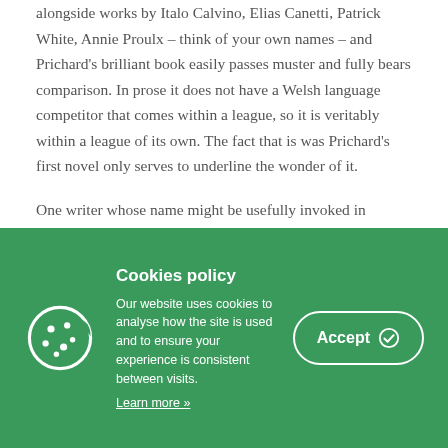alongside works by Italo Calvino, Elias Canetti, Patrick White, Annie Proulx – think of your own names – and Prichard's brilliant book easily passes muster and fully bears comparison. In prose it does not have a Welsh language competitor that comes within a league, so it is veritably within a league of its own. The fact that is was Prichard's first novel only serves to underline the wonder of it.

One writer whose name might be usefully invoked in discussing it is Gabriel Garcia Marquez, as Un Nos Ola
[Figure (screenshot): Cookie consent overlay with green background, cookie icon, 'Cookies policy' title, descriptive text, 'Learn more »' link, and an 'Accept' button with checkmark icon.]